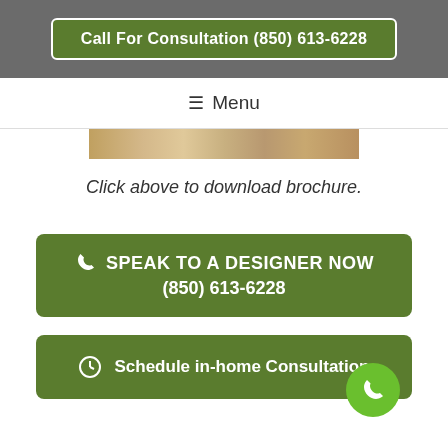Call For Consultation (850) 613-6228
≡ Menu
[Figure (photo): Partial image showing a brochure or document on a wooden surface]
Click above to download brochure.
SPEAK TO A DESIGNER NOW (850) 613-6228
Schedule in-home Consultation